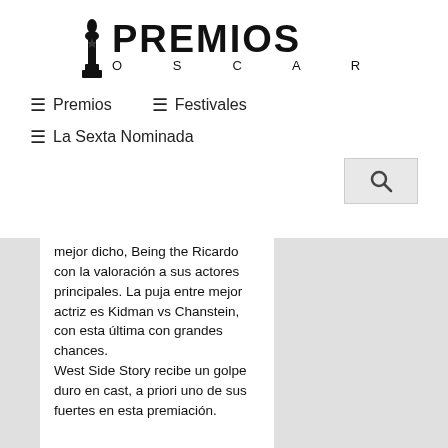[Figure (logo): Premios Oscar logo with Oscar statuette figure and bold text PREMIOS above O S C A R]
≡ Premios   ≡ Festivales
≡ La Sexta Nominada
mejor dicho, Being the Ricardo con la valoración a sus actores principales. La puja entre mejor actriz es Kidman vs Chanstein, con esta última con grandes chances.
West Side Story recibe un golpe duro en cast, a priori uno de sus fuertes en esta premiación.